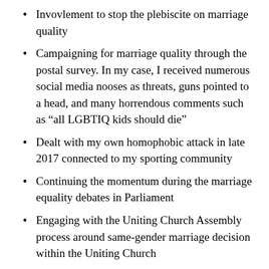Invovlement to stop the plebiscite on marriage quality
Campaigning for marriage quality through the postal survey. In my case, I received numerous social media nooses as threats, guns pointed to a head, and many horrendous comments such as “all LGBTIQ kids should die”
Dealt with my own homophobic attack in late 2017 connected to my sporting community
Continuing the momentum during the marriage equality debates in Parliament
Engaging with the Uniting Church Assembly process around same-gender marriage decision within the Uniting Church
Advocating during the attempts to delay the Assembly decision through a never previously used clause in the Uniting Church’s constitution
Supporting transgender people’s rights who have received inappropriate treatment by medical